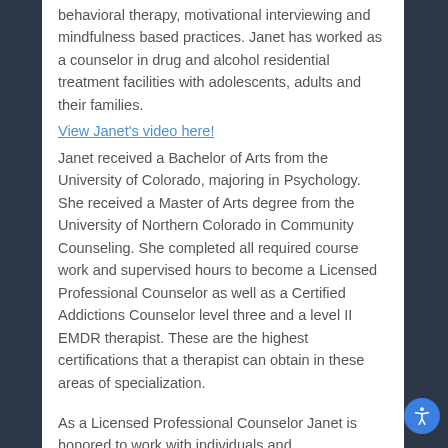behavioral therapy, motivational interviewing and mindfulness based practices. Janet has worked as a counselor in drug and alcohol residential treatment facilities with adolescents, adults and their families.
View Janet's video here!
Janet received a Bachelor of Arts from the University of Colorado, majoring in Psychology. She received a Master of Arts degree from the University of Northern Colorado in Community Counseling. She completed all required course work and supervised hours to become a Licensed Professional Counselor as well as a Certified Addictions Counselor level three and a level II EMDR therapist. These are the highest certifications that a therapist can obtain in these areas of specialization.
As a Licensed Professional Counselor Janet is honored to work with individuals and